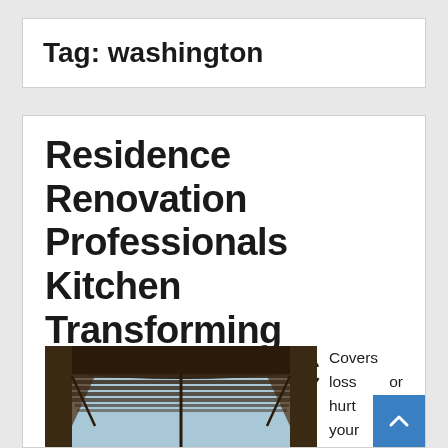Tag: washington
Residence Renovation Professionals Kitchen Transforming Washington DC
[Figure (photo): Interior photo of a kitchen bay window with curved dark wood trim, horizontal blinds, and a view of trees outside through the glass]
Covers loss or hurt to your vehicle and the harm it causes to